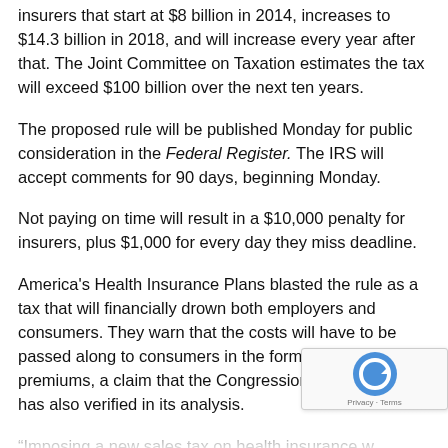insurers that start at $8 billion in 2014, increases to $14.3 billion in 2018, and will increase every year after that. The Joint Committee on Taxation estimates the tax will exceed $100 billion over the next ten years.
The proposed rule will be published Monday for public consideration in the Federal Register. The IRS will accept comments for 90 days, beginning Monday.
Not paying on time will result in a $10,000 penalty for insurers, plus $1,000 for every day they miss deadline.
America's Health Insurance Plans blasted the rule as a tax that will financially drown both employers and consumers. They warn that the costs will have to be passed along to consumers in the form of higher premiums, a claim that the Congressional Budget Office has also verified in its analysis.
“Imposing a new sales tax on health insurance will place a financial burden on families and employers at a time when they can least afford it,” AHIP President and CEO Karen Ignagni said Friday. “This tax alone will ensure that...